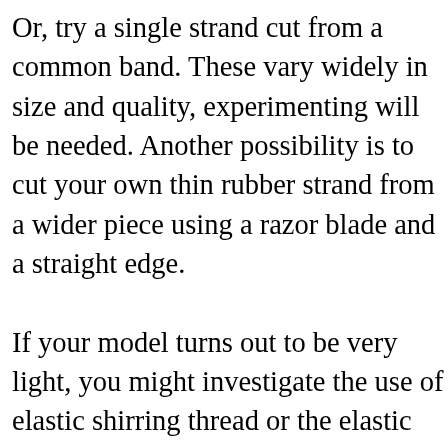Or, try a single strand cut from a common band. These vary widely in size and quality, experimenting will be needed. Another possibility is to cut your own thin rubber strand from a wider piece using a razor blade and a straight edge. If your model turns out to be very light, you might investigate the use of elastic shirring thread or the elastic used in the tops of socks, shorts, and similar apparel. Again, size and quality varies from brand to brand, a little looking around. In the case of the lightest substance, a single loop (two strands) may